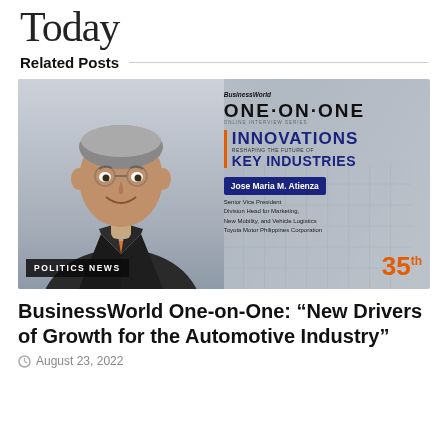Today
Related Posts
[Figure (photo): Promotional image for BusinessWorld One-on-One featuring Jose Maria M. Atienza, Senior Vice President Division Head for Marketing, New Mobility, and Vehicle Logistics, Toyota Motor Philippines Corporation. Text includes 'INNOVATIONS Reshaping the Future of KEY INDUSTRIES' and '35th' anniversary logo. Badge overlay reads 'POLITICS NEWS'.]
BusinessWorld One-on-One: “New Drivers of Growth for the Automotive Industry”
August 23, 2022